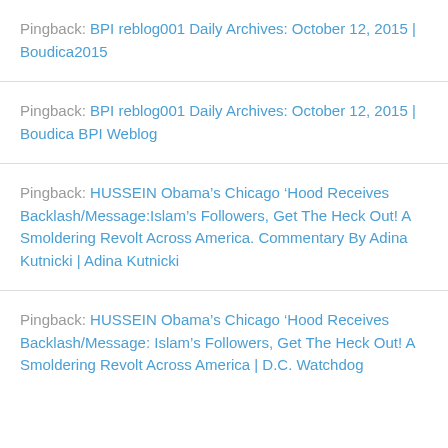Pingback: BPI reblog001 Daily Archives: October 12, 2015 | Boudica2015
Pingback: BPI reblog001 Daily Archives: October 12, 2015 | Boudica BPI Weblog
Pingback: HUSSEIN Obama’s Chicago ‘Hood Receives Backlash/Message:Islam’s Followers, Get The Heck Out! A Smoldering Revolt Across America. Commentary By Adina Kutnicki | Adina Kutnicki
Pingback: HUSSEIN Obama’s Chicago ‘Hood Receives Backlash/Message: Islam’s Followers, Get The Heck Out! A Smoldering Revolt Across America | D.C. Watchdog